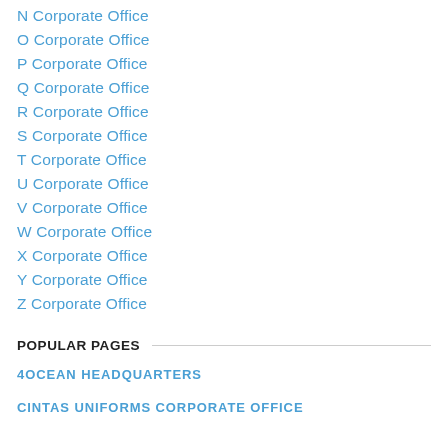N Corporate Office
O Corporate Office
P Corporate Office
Q Corporate Office
R Corporate Office
S Corporate Office
T Corporate Office
U Corporate Office
V Corporate Office
W Corporate Office
X Corporate Office
Y Corporate Office
Z Corporate Office
POPULAR PAGES
4OCEAN HEADQUARTERS
CINTAS UNIFORMS CORPORATE OFFICE